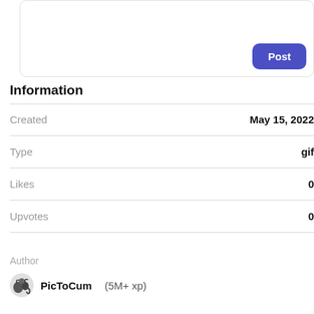[Figure (screenshot): Post input box with a blue Post button at bottom right]
Information
| Field | Value |
| --- | --- |
| Created | May 15, 2022 |
| Type | gif |
| Likes | 0 |
| Upvotes | 0 |
Author
PicToCum   (5M+ xp)